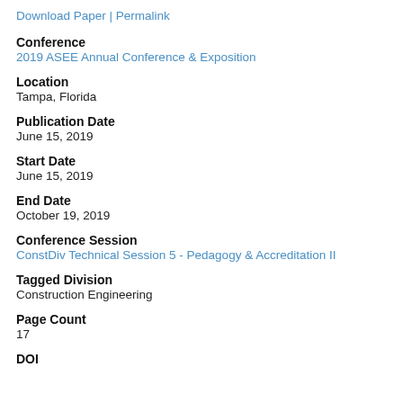Download Paper | Permalink
Conference
2019 ASEE Annual Conference & Exposition
Location
Tampa, Florida
Publication Date
June 15, 2019
Start Date
June 15, 2019
End Date
October 19, 2019
Conference Session
ConstDiv Technical Session 5 - Pedagogy & Accreditation II
Tagged Division
Construction Engineering
Page Count
17
DOI